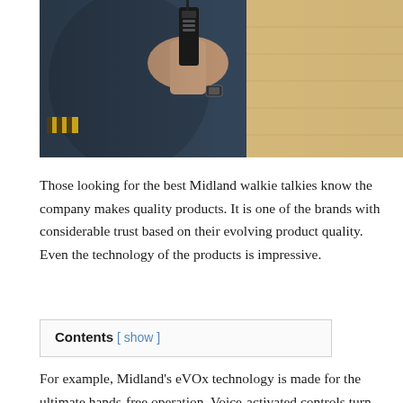[Figure (photo): A person in dark clothing holding a walkie talkie/two-way radio, with a wooden deck or platform background visible. A yellow and black striped safety marking is visible on the left. The person is wearing a watch.]
Those looking for the best Midland walkie talkies know the company makes quality products. It is one of the brands with considerable trust based on their evolving product quality. Even the technology of the products is impressive.
Contents [ show ]
For example, Midland's eVOx technology is made for the ultimate hands-free operation. Voice-activated controls turn the 2 way radio into modern communication devices. To those technologies, Midland adds solid materials with